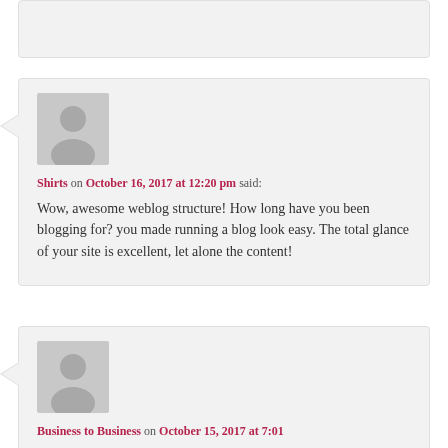(partial comment block at top, content cropped)
Shirts on October 16, 2017 at 12:20 pm said: Wow, awesome weblog structure! How long have you been blogging for? you made running a blog look easy. The total glance of your site is excellent, let alone the content!
Business to Business on October 15, 2017 at 7:01 am said: